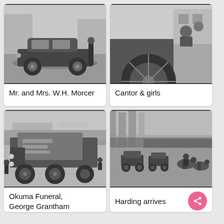[Figure (photo): Black and white photograph of a vintage car parked on a street with a person standing beside it]
Mr. and Mrs. W.H. Morcer
[Figure (photo): Black and white photograph of a vintage open-top automobile, close-up of front wheel and passenger area]
Cantor & girls
[Figure (photo): Black and white photograph of a large decorated truck or float in a funeral procession for Okuma, with crowds visible]
Okuma Funeral, George Grantham
[Figure (photo): Black and white photograph of a large crowd gathered at a building with columns, with motorcade and horses visible]
Harding arrives